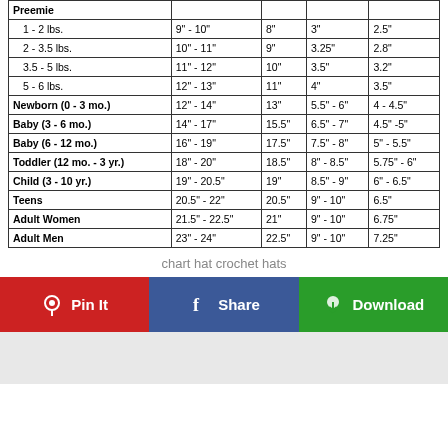| Size | Head Circumference | Hat Height | Brim Width | Brim Depth |
| --- | --- | --- | --- | --- |
| Preemie |  |  |  |  |
| 1 - 2 lbs. | 9" - 10" | 8" | 3" | 2.5" |
| 2 - 3.5 lbs. | 10" - 11" | 9" | 3.25" | 2.8" |
| 3.5 - 5 lbs. | 11" - 12" | 10" | 3.5" | 3.2" |
| 5 - 6 lbs. | 12" - 13" | 11" | 4" | 3.5" |
| Newborn (0 - 3 mo.) | 12" - 14" | 13" | 5.5" - 6" | 4 - 4.5" |
| Baby (3 - 6 mo.) | 14" - 17" | 15.5" | 6.5" - 7" | 4.5" -5" |
| Baby (6 - 12 mo.) | 16" - 19" | 17.5" | 7.5" - 8" | 5" - 5.5" |
| Toddler (12 mo. - 3 yr.) | 18" - 20" | 18.5" | 8" - 8.5" | 5.75" - 6" |
| Child (3 - 10 yr.) | 19" - 20.5" | 19" | 8.5" - 9" | 6" - 6.5" |
| Teens | 20.5" - 22" | 20.5" | 9" - 10" | 6.5" |
| Adult Women | 21.5" - 22.5" | 21" | 9" - 10" | 6.75" |
| Adult Men | 23" - 24" | 22.5" | 9" - 10" | 7.25" |
chart hat crochet hats
Pin It
Share
Download